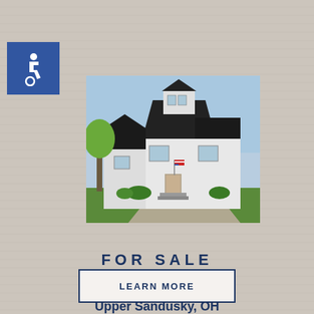[Figure (logo): Blue square with white wheelchair accessibility icon]
[Figure (photo): Two-story white house with dark roof, American flag on porch, green lawn and driveway in front]
FOR SALE
356 W Johnson Street
Upper Sandusky, OH
LEARN MORE